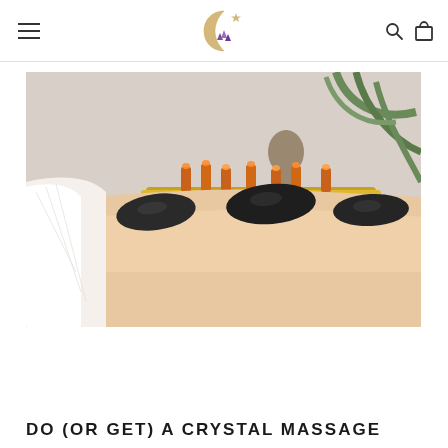[Logo: Crescent moon with crystal cat symbol] Navigation with hamburger menu, search icon, and cart icon
[Figure (photo): A hot stone massage scene showing dark smooth basalt stones placed along a person's back, with a golden decorative tray, candles, a Buddha statue, and a green palm plant in the background.]
DO (OR GET) A CRYSTAL MASSAGE